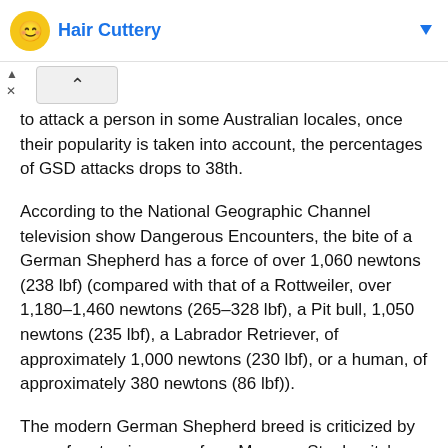Hair Cuttery
to attack a person in some Australian locales, once their popularity is taken into account, the percentages of GSD attacks drops to 38th.
According to the National Geographic Channel television show Dangerous Encounters, the bite of a German Shepherd has a force of over 1,060 newtons (238 lbf) (compared with that of a Rottweiler, over 1,180–1,460 newtons (265–328 lbf), a Pit bull, 1,050 newtons (235 lbf), a Labrador Retriever, of approximately 1,000 newtons (230 lbf), or a human, of approximately 380 newtons (86 lbf)).
The modern German Shepherd breed is criticized by some for straying away from Max von Stephanitz's original ideology that German Shepherds should be bred primarily as working dogs and that breeding should be strictly controlled to eliminate defects quickly. He believed that,